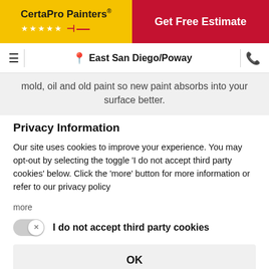[Figure (logo): CertaPro Painters logo on yellow background with red stars and painter icon]
Get Free Estimate
East San Diego/Poway
mold, oil and old paint so new paint absorbs into your surface better.
Privacy Information
Our site uses cookies to improve your experience. You may opt-out by selecting the toggle 'I do not accept third party cookies' below. Click the 'more' button for more information or refer to our privacy policy
more
I do not accept third party cookies
OK
Powered by Usercentrics Consent Management